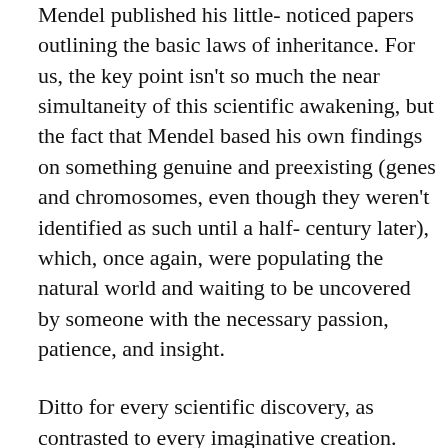Mendel published his little- noticed papers outlining the basic laws of inheritance. For us, the key point isn't so much the near simultaneity of this scientific awakening, but the fact that Mendel based his own findings on something genuine and preexisting (genes and chromosomes, even though they weren't identified as such until a half- century later), which, once again, were populating the natural world and waiting to be uncovered by someone with the necessary passion, patience, and insight.
Ditto for every scientific discovery, as contrasted to every imaginative creation.